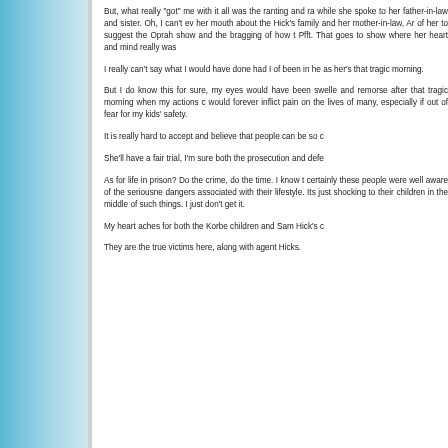But, what really "got" me with it all was the ranting and ra while she spoke to her father-in-law and sister. Oh, I can't ev her mouth about the Hick's family and her mother-in-law, An of her to suggest the Oprah show and the bragging of how t Pfft. That goes to show where her heart and mind really was
I really can't say what I would have done had I of been in he as her's that tragic morning.
But I do know this for sure, my eyes would have been swelle and remorse after that tragic morning when my actions c would forever inflict pain on the lives of many, especially if out of fear for my kids' safety.
It is really hard to accept and believe that people can be so c
She'll have a fair trial, I'm sure both the prosecution and defe
As for life in prison? Do the crime, do the time. I know t certainly these people were well aware of the seriousne dangers associated with their lifestyle. Its just shocking to their children in the middle of such things. I just don't get it.
My heart aches for both the Korbe children and Sam Hick's c
They are the true victims here, along with agent Hicks.